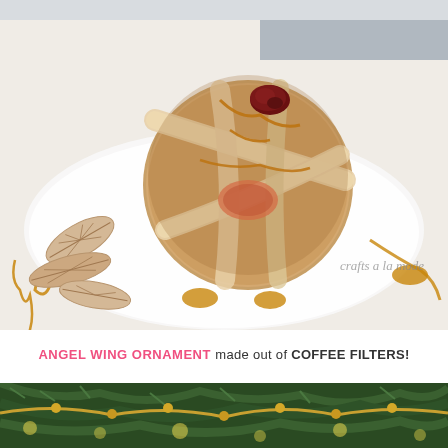[Figure (photo): A baked apple or pastry dessert wrapped in puff pastry strips dusted with cinnamon sugar, topped with a dried cranberry, drizzled with caramel sauce, presented on a white plate with leaf-shaped pastry cutouts on the side. Watermark reads 'crafts a la mode'.]
ANGEL WING ORNAMENT made out of COFFEE FILTERS!
[Figure (photo): Bottom portion of a Christmas tree with gold/yellow ornament chains and bokeh lights, green pine branches visible.]